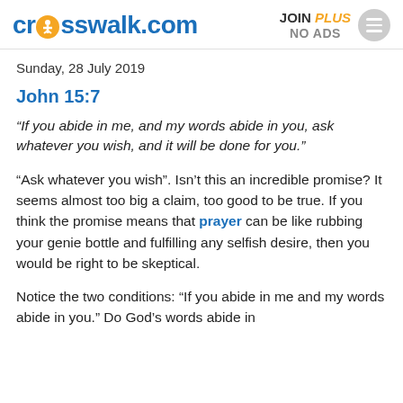crosswalk.com | JOIN PLUS NO ADS
Sunday, 28 July 2019
John 15:7
“If you abide in me, and my words abide in you, ask whatever you wish, and it will be done for you.”
“Ask whatever you wish”. Isn’t this an incredible promise? It seems almost too big a claim, too good to be true. If you think the promise means that prayer can be like rubbing your genie bottle and fulfilling any selfish desire, then you would be right to be skeptical.
Notice the two conditions: “If you abide in me and my words abide in you.” Do God’s words abide in